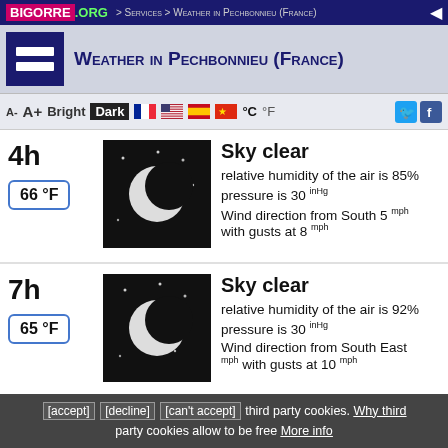BIGORRE.ORG > Services > Weather in Pechbonnieu (France)
Weather in Pechbonnieu (France)
A-  A+  Bright  Dark  °C  °F
4h
66 °F
Sky clear
relative humidity of the air is 85%
pressure is 30 inHg
Wind direction from South 5 mph with gusts at 8 mph
7h
65 °F
Sky clear
relative humidity of the air is 92%
pressure is 30 inHg
Wind direction from South East mph with gusts at 10 mph
[accept] [decline] [can't accept] third party cookies. Why third party cookies allow to be free More info